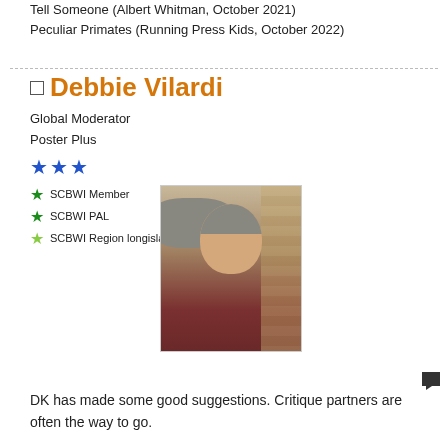Tell Someone (Albert Whitman, October 2021)
Peculiar Primates (Running Press Kids, October 2022)
Debbie Vilardi
Global Moderator
Poster Plus
★★★ SCBWI Member
★ SCBWI PAL
★ SCBWI Region longislandny
[Figure (photo): Profile photo of a woman with gray hair wearing a dark red/maroon top, smiling, in front of a brick wall background.]
DK has made some good suggestions. Critique partners are often the way to go.